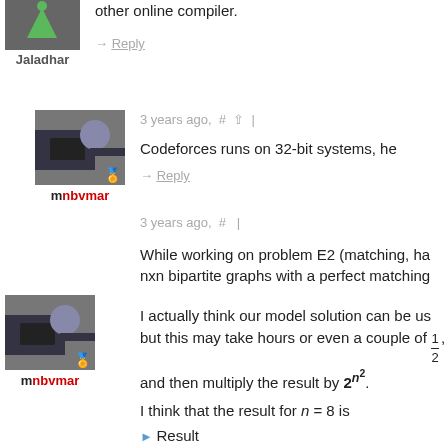was failing on test case no 3. But giving this on other online compiler.
→ Reply
[Figure (photo): Profile photo of user Jaladhar]
Jaladhar
3 years ago, # ^ |
Codeforces runs on 32-bit systems, he
→ Reply
[Figure (photo): Profile photo of user mnbvmar with badge]
mnbvmar
3 years ago, # |
While working on problem E2 (matching, ha nxn bipartite graphs with a perfect matching
I actually think our model solution can be us but this may take hours or even a couple of 1/2, and then multiply the result by 2^(n^2).
[Figure (photo): Profile photo of user mnbvmar with badge]
mnbvmar
I think that the result for n = 8 is
▶ Result